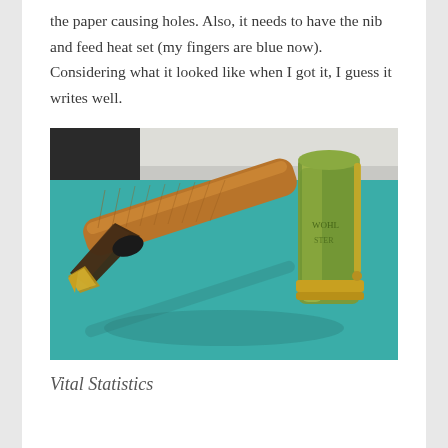the paper causing holes. Also, it needs to have the nib and feed heat set (my fingers are blue now). Considering what it looked like when I got it, I guess it writes well.
[Figure (photo): Close-up photograph of a vintage fountain pen with a gold/bronze barrel and nib, lying uncapped on a teal surface. The cap stands upright to the right, showing verdigris patina and gold tones with engraved text.]
Vital Statistics